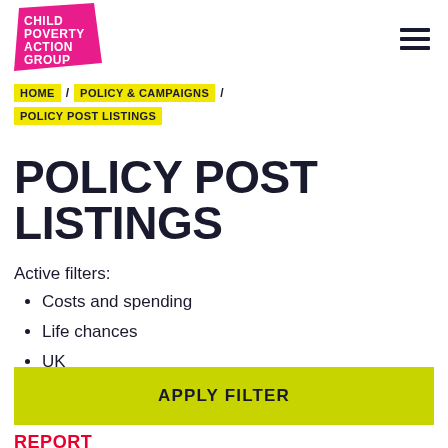[Figure (logo): Child Poverty Action Group logo — pink geometric shape with white text]
HOME / POLICY & CAMPAIGNS / POLICY POST LISTINGS
POLICY POST LISTINGS
Active filters:
Costs and spending
Life chances
UK
APPLY FILTER
REPORT